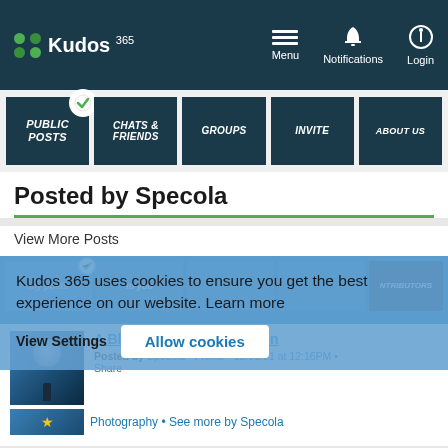Kudos 365 — Menu | Notifications | Login
[Figure (screenshot): Navigation tiles: PUBLIC POSTS (with checkmark), CHATS & FRIENDS, GROUPS, INVITE, ABOUT US]
Posted by Specola
View More Posts
[Figure (screenshot): Cookie consent overlay on Kudos 365 website: 'Kudos 365 uses cookies to ensure you get the best experience on our website. Learn more' with 'View Settings' and 'Allow cookies' buttons. Behind: second nav row and post preview for 'A Blue-Banded Blood Moon' posted by Specola, Profile, 12/01/21 at 12:16PM, Share. Photography • See more by Specola. Contributor badge.]